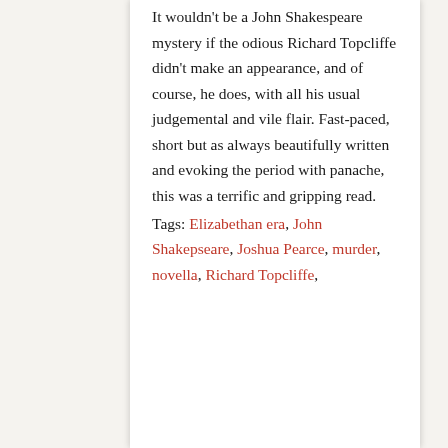It wouldn't be a John Shakespeare mystery if the odious Richard Topcliffe didn't make an appearance, and of course, he does, with all his usual judgemental and vile flair. Fast-paced, short but as always beautifully written and evoking the period with panache, this was a terrific and gripping read.
Tags: Elizabethan era, John Shakepseare, Joshua Pearce, murder, novella, Richard Topcliffe, Roger Sharma, Tim...